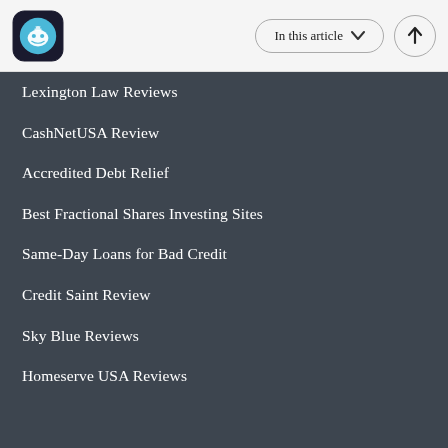In this article
Lexington Law Reviews
CashNetUSA Review
Accredited Debt Relief
Best Fractional Shares Investing Sites
Same-Day Loans for Bad Credit
Credit Saint Review
Sky Blue Reviews
Homeserve USA Reviews